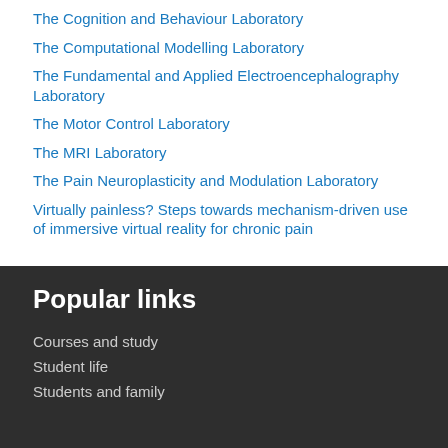The Cognition and Behaviour Laboratory
The Computational Modelling Laboratory
The Fundamental and Applied Electroencephalography Laboratory
The Motor Control Laboratory
The MRI Laboratory
The Pain Neuroplasticity and Modulation Laboratory
Virtually painless? Steps towards mechanism-driven use of immersive virtual reality for chronic pain
Popular links
Courses and study
Student life
Students and family